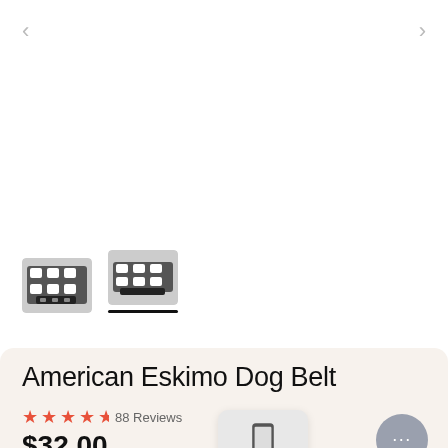[Figure (screenshot): Two small product thumbnail images of the American Eskimo Dog Belt, showing black and white patterned fabric dog collar/belt, side by side with a selection indicator underline beneath the second thumbnail.]
American Eskimo Dog Belt
★★★★½  88 Reviews
$32.00